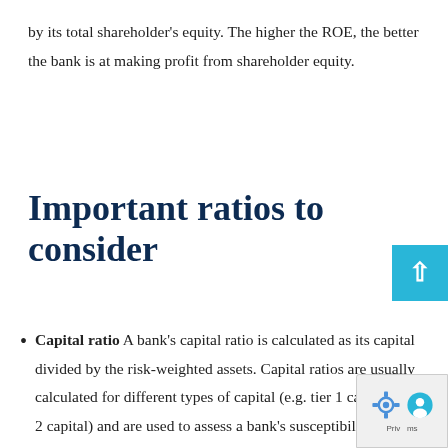by its total shareholder's equity. The higher the ROE, the better the bank is at making profit from shareholder equity.
Important ratios to consider
Capital ratio A bank's capital ratio is calculated as its capital divided by the risk-weighted assets. Capital ratios are usually calculated for different types of capital (e.g. tier 1 capital, tier 2 capital) and are used to assess a bank's susceptibility to sudden and unexpected incre... in bad loans.